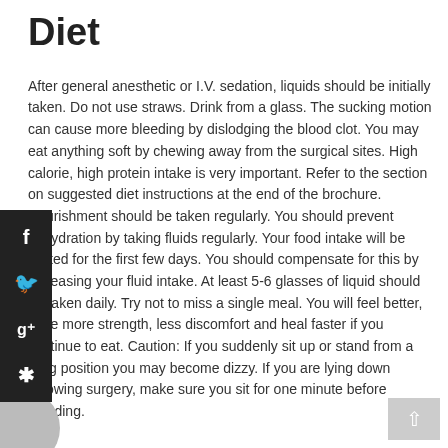Diet
After general anesthetic or I.V. sedation, liquids should be initially taken. Do not use straws. Drink from a glass. The sucking motion can cause more bleeding by dislodging the blood clot. You may eat anything soft by chewing away from the surgical sites. High calorie, high protein intake is very important. Refer to the section on suggested diet instructions at the end of the brochure. Nourishment should be taken regularly. You should prevent dehydration by taking fluids regularly. Your food intake will be limited for the first few days. You should compensate for this by increasing your fluid intake. At least 5-6 glasses of liquid should be taken daily. Try not to miss a single meal. You will feel better, have more strength, less discomfort and heal faster if you continue to eat. Caution: If you suddenly sit up or stand from a lying position you may become dizzy. If you are lying down following surgery, make sure you sit for one minute before standing.